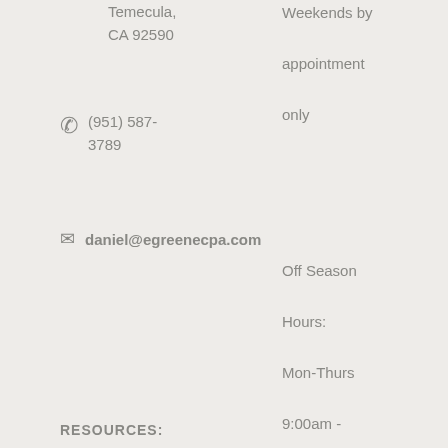Temecula, CA 92590
(951) 587-3789
daniel@egreenecpa.com
Weekends by appointment only
Off Season Hours: Mon-Thurs 9:00am - 4:00pm Friday by appointment only
RESOURCES: